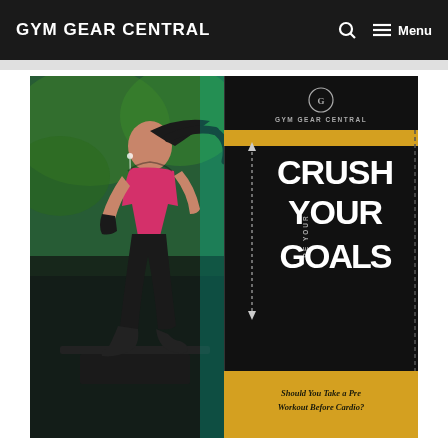GYM GEAR CENTRAL | Menu
[Figure (photo): Composite image: left side shows a woman in pink sports bra and black leggings running on a treadmill with earphones, set against a green background. Right side is a dark motivational graphic for Gym Gear Central showing 'CRUSH YOUR GOALS' in bold white text with gold accents and text 'Should You Take a Pre Workout Before Cardio?' at bottom.]